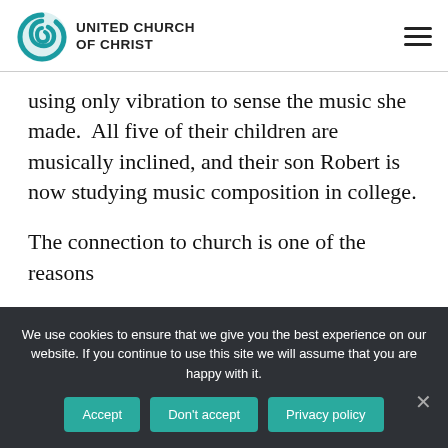UNITED CHURCH OF CHRIST
using only vibration to sense the music she made.  All five of their children are musically inclined, and their son Robert is now studying music composition in college.
The connection to church is one of the reasons
We use cookies to ensure that we give you the best experience on our website. If you continue to use this site we will assume that you are happy with it.